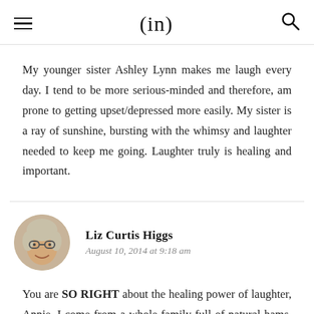(in)
My younger sister Ashley Lynn makes me laugh every day. I tend to be more serious-minded and therefore, am prone to getting upset/depressed more easily. My sister is a ray of sunshine, bursting with the whimsy and laughter needed to keep me going. Laughter truly is healing and important.
Liz Curtis Higgs
August 10, 2014 at 9:18 am
You are SO RIGHT about the healing power of laughter, Annie. I come from a whole family full of natural hams. We were each